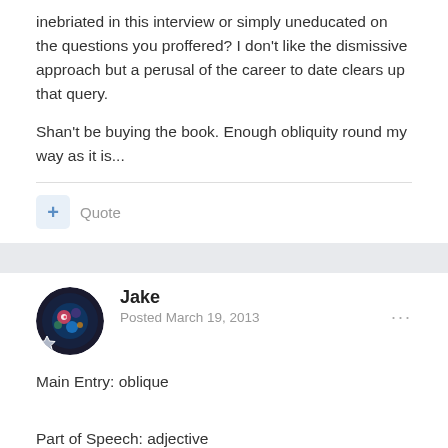inebriated in this interview or simply uneducated on the questions you proffered? I don't like the dismissive approach but a perusal of the career to date clears up that query.
Shan't be buying the book. Enough obliquity round my way as it is...
Jake
Posted March 19, 2013
Main Entry: oblique
Part of Speech: adjective
Definition: slanting; at an angle
Synonyms:
angledaskanceaskewaslantas ymmetricalawrybentcater-